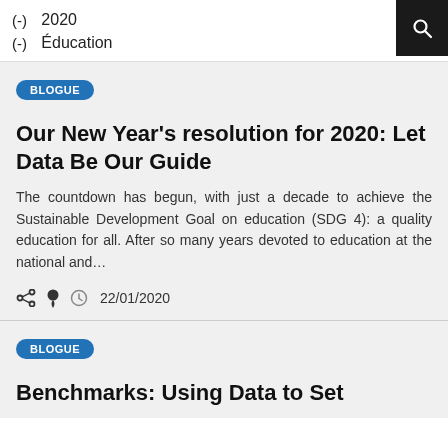(-) 2020
(-) Éducation
BLOGUE
Our New Year's resolution for 2020: Let Data Be Our Guide
The countdown has begun, with just a decade to achieve the Sustainable Development Goal on education (SDG 4): a quality education for all. After so many years devoted to education at the national and…
22/01/2020
BLOGUE
Benchmarks: Using Data to Set